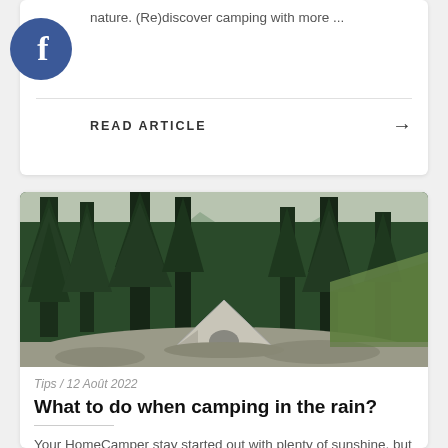nature. (Re)discover camping with more ...
READ ARTICLE →
[Figure (photo): A grey tent pitched in a rocky clearing surrounded by dense green coniferous forest, with misty mountains in background]
Tips / 12 Août 2022
What to do when camping in the rain?
Your HomeCamper stay started out with plenty of sunshine, but now the rain is playing the surprise guest. But don't let it get you down ! Discover our 5 tips to keep you busy and turn a rainy day into a real adventure! ©